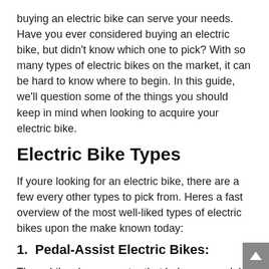buying an electric bike can serve your needs. Have you ever considered buying an electric bike, but didn't know which one to pick? With so many types of electric bikes on the market, it can be hard to know where to begin. In this guide, we'll question some of the things you should keep in mind when looking to acquire your electric bike.
Electric Bike Types
If youre looking for an electric bike, there are a few every other types to pick from. Heres a fast overview of the most well-liked types of electric bikes upon the make known today:
1. Pedal-Assist Electric Bikes:
These bikes have a motor that helps you pedal, making it easier to ride happening hills or exceeding long...